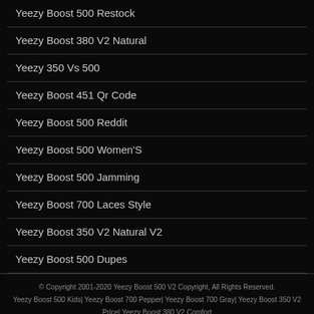Yeezy Boost 500 Restock
Yeezy Boost 380 V2 Natural
Yeezy 350 Vs 500
Yeezy Boost 451 Qr Code
Yeezy Boost 500 Reddit
Yeezy Boost 500 Women'S
Yeezy Boost 500 Jamming
Yeezy Boost 700 Laces Style
Yeezy Boost 350 V2 Natural V2
Yeezy Boost 500 Dupes
© Copyright 2001-2020 Yeezy Boost 500 V2 Copyright, All Rights Reserved. Yeezy Boost 500 Kids| Yeezy Boost 700 Pepper| Yeezy Boost 700 Gray| Yeezy Boost 350 V2 Price| Yeezy Boost 380 V2 Comfort